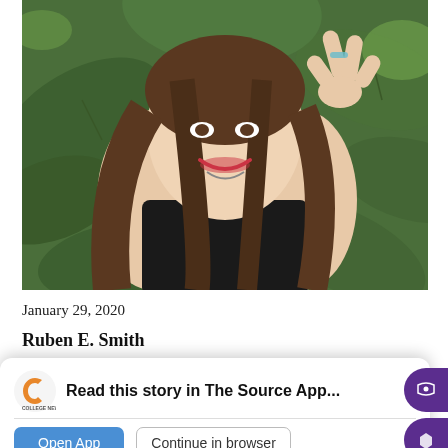[Figure (photo): Young woman with long dark hair smiling and making a peace sign, wearing a black sleeveless top, standing in front of large tropical green leaves outdoors.]
January 29, 2020
Ruben E. Smith
[Figure (screenshot): App overlay banner reading 'Read this story in The Source App...' with College News Source logo, Open App button (blue), and Continue in browser button (white/outlined). Two purple circles on the right side.]
Contributing Writer
Northwestern State University students can live, work and study abroad through the university's International Student Exchange Program (ISEP) and Study
Interna